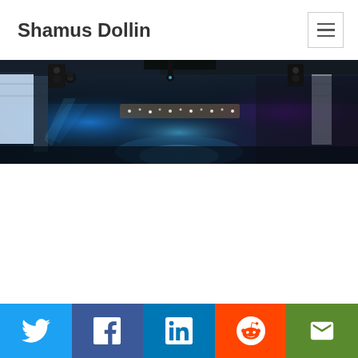Shamus Dollin
[Figure (photo): Panoramic photo of a nightclub or event venue interior with blue and purple stage lighting, ceiling-mounted speakers and lights, and string lights in the background]
Social share buttons: Twitter, Facebook, LinkedIn, Reddit, Email